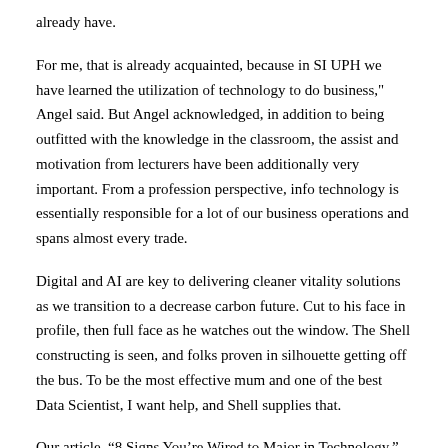already have.
For me, that is already acquainted, because in SI UPH we have learned the utilization of technology to do business," Angel said. But Angel acknowledged, in addition to being outfitted with the knowledge in the classroom, the assist and motivation from lecturers have been additionally very important. From a profession perspective, info technology is essentially responsible for a lot of our business operations and spans almost every trade.
Digital and AI are key to delivering cleaner vitality solutions as we transition to a decrease carbon future. Cut to his face in profile, then full face as he watches out the window. The Shell constructing is seen, and folks proven in silhouette getting off the bus. To be the most effective mum and one of the best Data Scientist, I want help, and Shell supplies that.
Our article, “8 Signs You’re Wired to Major in Technology,” lays out a variety of the telltale indicators you’d do properly in a Technology-related degree program. Computer systems analysts work behind the scenes to marry IT with sensible enterprise solutions. They usually specialize in a particular industry while working for a technology